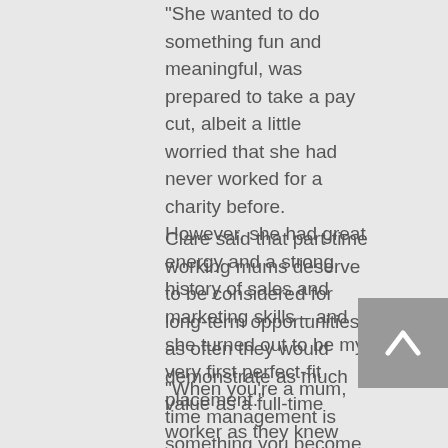"She wanted to do something fun and meaningful, was prepared to take a pay cut, albeit a little worried that she had never worked for a charity before. However, she had great energy and a strong history of sales and marketing skills – and she turned out to be my very first perfect-fit placement."
Clare said that part-time working mums deserve to be considered for long-term opportunities as often they would demonstrate as much value as a full-time worker as they knew their time to prove themselves and to embed themselves each week was limited.
"When you're a mum, time management is something you become very good at," she said. "So many mums are able to balance part time